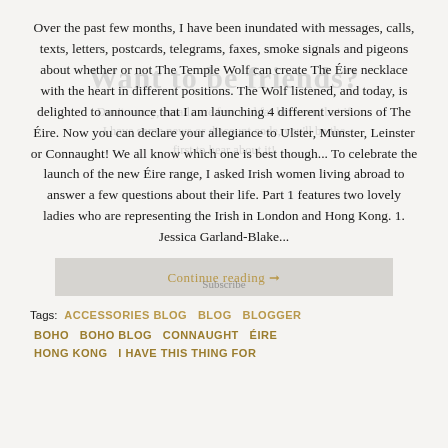Over the past few months, I have been inundated with messages, calls, texts, letters, postcards, telegrams, faxes, smoke signals and pigeons about whether or not The Temple Wolf can create The Éire necklace with the heart in different positions. The Wolf listened, and today, is delighted to announce that I am launching 4 different versions of The Éire. Now you can declare your allegiance to Ulster, Munster, Leinster or Connaught! We all know which one is best though... To celebrate the launch of the new Éire range, I asked Irish women living abroad to answer a few questions about their life. Part 1 features two lovely ladies who are representing the Irish in London and Hong Kong. 1. Jessica Garland-Blake...
[Figure (other): Watermark overlay text reading 'Want to be friends?' with subtext 'Don't worry, emails are few and far between, but if I have some news or discount code, you'll be the first to hear about it!']
Continue reading →
Subscribe
Tags: ACCESSORIES BLOG   BLOG   BLOGGER   BOHO   BOHO BLOG   CONNAUGHT   ÉIRE   HONG KONG   I HAVE THIS THING FOR